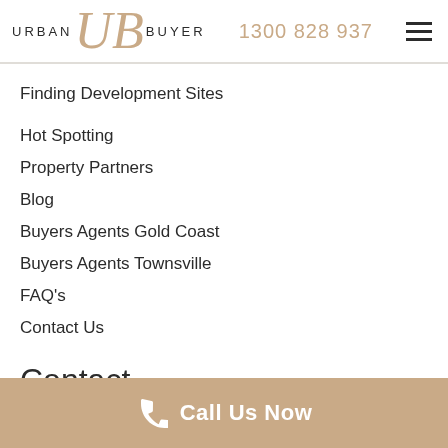URBAN UB BUYER  1300 828 937
Finding Development Sites
Hot Spotting
Property Partners
Blog
Buyers Agents Gold Coast
Buyers Agents Townsville
FAQ's
Contact Us
Contact
Call Us Now